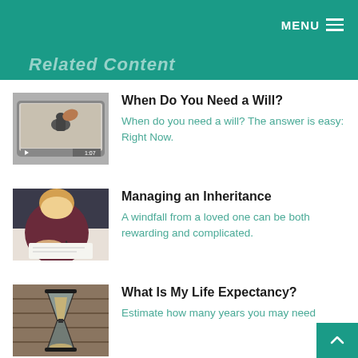MENU ☰
Related Content
[Figure (photo): A hand placing chess piece on a tablet device showing a video, with play controls and timestamp 1:07]
When Do You Need a Will?
When do you need a will? The answer is easy: Right Now.
[Figure (photo): A woman in dark red shirt writing at a desk, viewed from above]
Managing an Inheritance
A windfall from a loved one can be both rewarding and complicated.
[Figure (photo): An hourglass on a wooden surface]
What Is My Life Expectancy?
Estimate how many years you may need